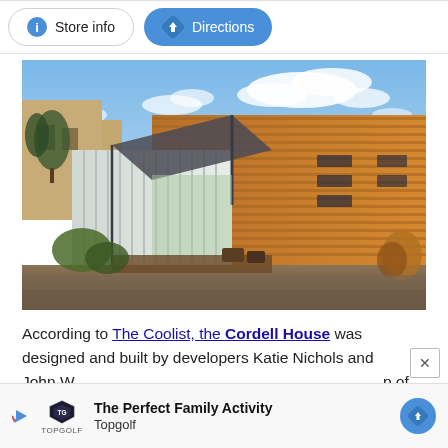[Figure (screenshot): UI screenshot showing Store info and Directions buttons at top of a Google Maps / web page interface]
[Figure (photo): Exterior photo of the Cordell House, a modern building made from shipping containers with horizontal wooden slat cladding, an open awning, glass walls, and outdoor seating, surrounded by landscaping under a partly cloudy sky]
According to The Coolist, the Cordell House was designed and built by developers Katie Nichols and John W... p of
[Figure (screenshot): Advertisement banner for Topgolf showing logo, text 'The Perfect Family Activity', 'Topgolf', and a blue directions button]